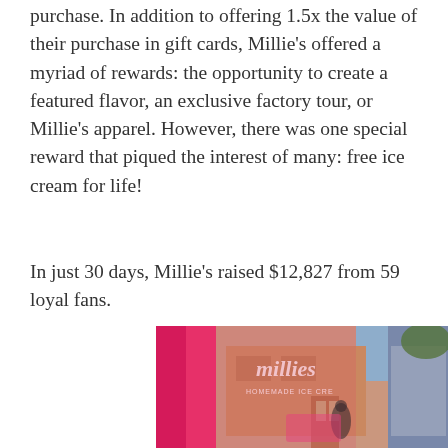purchase. In addition to offering 1.5x the value of their purchase in gift cards, Millie's offered a myriad of rewards: the opportunity to create a featured flavor, an exclusive factory tour, or Millie's apparel. However, there was one special reward that piqued the interest of many: free ice cream for life!
In just 30 days, Millie's raised $12,827 from 59 loyal fans.
[Figure (photo): Photo of Millie's Homemade Ice Cream storefront with pink tones and a window reflection showing the logo and store exterior]